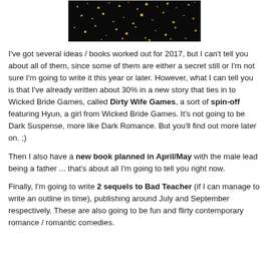[Figure (photo): Dark glittery background image with gold sparkles on black, cropped to show the top portion of what appears to be a book cover]
I've got several ideas / books worked out for 2017, but I can't tell you about all of them, since some of them are either a secret still or I'm not sure I'm going to write it this year or later. However, what I can tell you is that I've already written about 30% in a new story that ties in to Wicked Bride Games, called Dirty Wife Games, a sort of spin-off featuring Hyun, a girl from Wicked Bride Games. It's not going to be Dark Suspense, more like Dark Romance. But you'll find out more later on. ;)
Then I also have a new book planned in April/May with the male lead being a father ... that's about all I'm going to tell you right now.
Finally, I'm going to write 2 sequels to Bad Teacher (if I can manage to write an outline in time), publishing around July and September respectively. These are also going to be fun and flirty contemporary romance / romantic comedies.